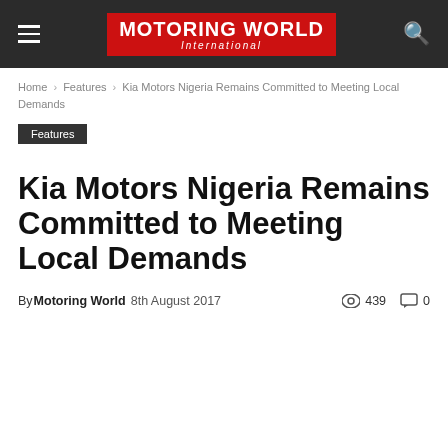Motoring World International
Home › Features › Kia Motors Nigeria Remains Committed to Meeting Local Demands
Features
Kia Motors Nigeria Remains Committed to Meeting Local Demands
By Motoring World 8th August 2017 · 439 views · 0 comments